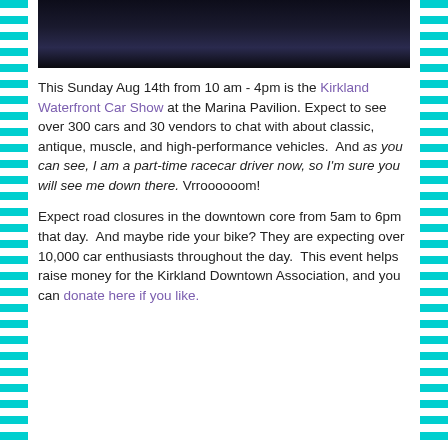[Figure (photo): Dark photo, likely interior of a race car or car event scene, very dark blue/black tones]
This Sunday Aug 14th from 10 am - 4pm is the Kirkland Waterfront Car Show at the Marina Pavilion. Expect to see over 300 cars and 30 vendors to chat with about classic, antique, muscle, and high-performance vehicles.  And as you can see, I am a part-time racecar driver now, so I'm sure you will see me down there. Vrroooooom!
Expect road closures in the downtown core from 5am to 6pm that day.  And maybe ride your bike? They are expecting over 10,000 car enthusiasts throughout the day.  This event helps raise money for the Kirkland Downtown Association, and you can donate here if you like.